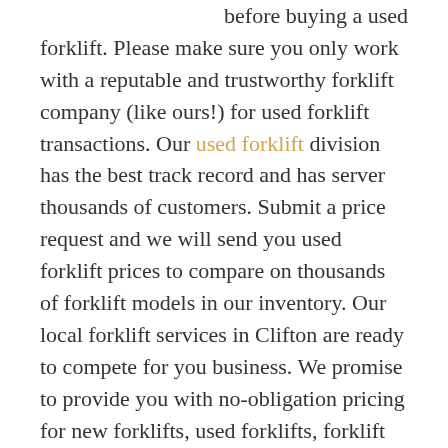before buying a used forklift. Please make sure you only work with a reputable and trustworthy forklift company (like ours!) for used forklift transactions. Our used forklift division has the best track record and has server thousands of customers. Submit a price request and we will send you used forklift prices to compare on thousands of forklift models in our inventory. Our local forklift services in Clifton are ready to compete for you business. We promise to provide you with no-obligation pricing for new forklifts, used forklifts, forklift rentals, and forklift leases in Clifton. We ONLY work with the best forklift companies in Clifton. Clark, Crown, Hyster, and CAT forklifts are some of the great forklift manufacturers we work with daily, and we promise to treat you how we would want to be treated as a customer. It takes just a moment...